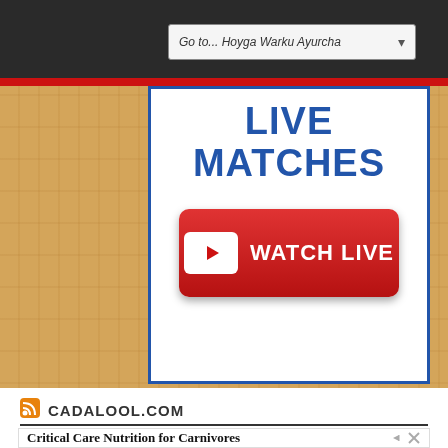Go to... Hoyga Warku Ayurcha
LIVE MATCHES
[Figure (screenshot): Red WATCH LIVE button with YouTube play icon]
CADALOOL.COM
[Figure (screenshot): Advertisement: Critical Care Nutrition for Carnivores with product image]